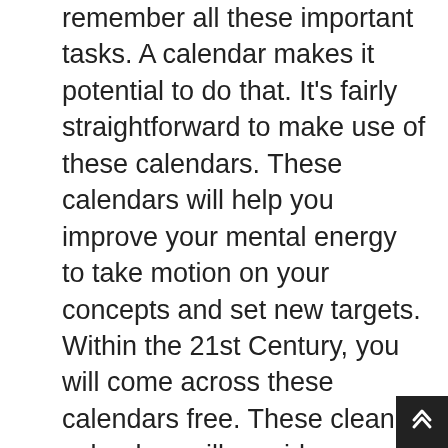remember all these important tasks. A calendar makes it potential to do that. It's fairly straightforward to make use of these calendars. These calendars will help you improve your mental energy to take motion on your concepts and set new targets. Within the 21st Century, you will come across these calendars free. These clean calendars will provide you with a hand in each approach you want. Calendars are a important portion of the everyday routines. Thus, the calendar is getting a particularly worthwhile portion of our lives. Printable calendars make your day-to-day tasks straightforward and at any time when you would like to check out these calendars. You're capable of download or print a printable calendar, and you'll be able to apply these calendars at the workplace or on the wall. So, for all types of purpose, you could use these central islip school calendar 2021. These printable calendars w...